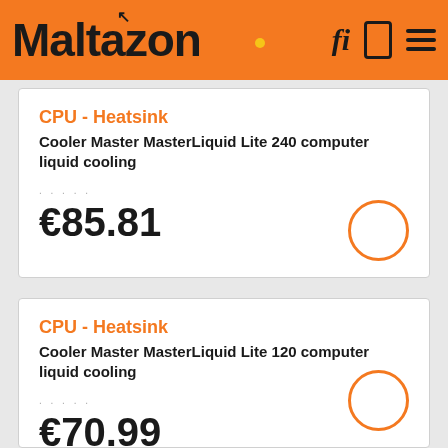Maltazon
CPU - Heatsink
Cooler Master MasterLiquid Lite 240 computer liquid cooling
€85.81
CPU - Heatsink
Cooler Master MasterLiquid Lite 120 computer liquid cooling
€70.99